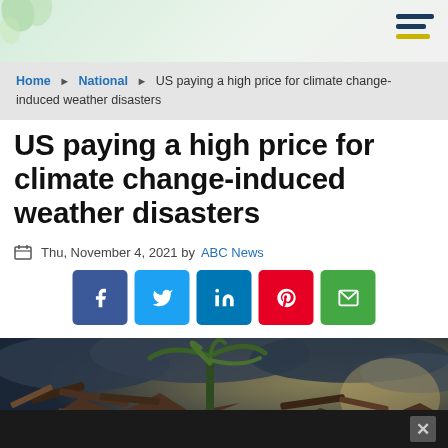Home ▶ National ▶ US paying a high price for climate change-induced weather disasters
US paying a high price for climate change-induced weather disasters
Thu, November 4, 2021 by ABC News
[Figure (other): Social sharing buttons: Facebook, Twitter, LinkedIn, Pinterest, Email]
[Figure (photo): Photograph of storm damage showing a destroyed structure with debris and a palm tree against a dark stormy sky]